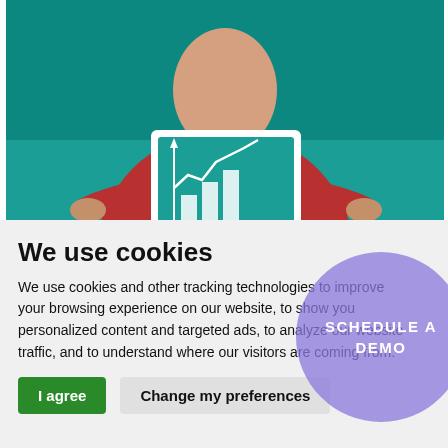[Figure (photo): Person in red top holding a tablet showing a bar chart and line graph on a teal background]
We use cookies
We use cookies and other tracking technologies to improve your browsing experience on our website, to show you personalized content and targeted ads, to analyze our website traffic, and to understand where our visitors are coming from.
[Figure (other): Purple/lavender circle button overlay with text 'SCHEDULE A DEMO']